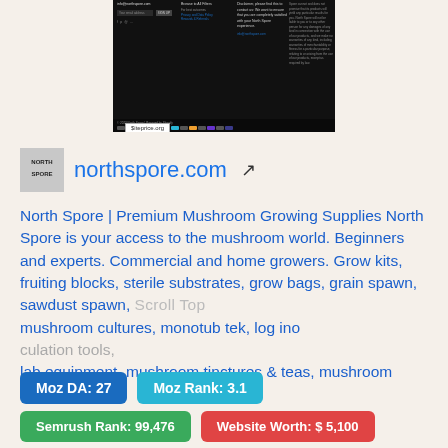[Figure (screenshot): Screenshot of northspore.com website footer area showing dark background with multiple columns of text, email/newsletter signup, payment icons, and siteprice.org watermark badge]
northspore.com
North Spore | Premium Mushroom Growing Supplies North Spore is your access to the mushroom world. Beginners and experts. Commercial and home growers. Grow kits, fruiting blocks, sterile substrates, grow bags, grain spawn, sawdust spawn, mushroom cultures, monotub tek, log inoculation tools, lab equipment, mushroom tinctures & teas, mushroom books, more.
Moz DA: 27
Moz Rank: 3.1
Semrush Rank: 99,476
Website Worth: $ 5,100